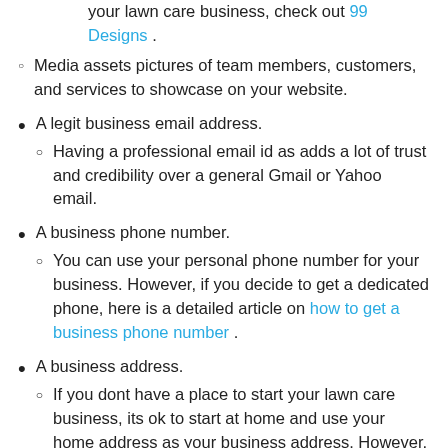your lawn care business, check out 99 Designs .
Media assets pictures of team members, customers, and services to showcase on your website.
A legit business email address.
Having a professional email id as adds a lot of trust and credibility over a general Gmail or Yahoo email.
A business phone number.
You can use your personal phone number for your business. However, if you decide to get a dedicated phone, here is a detailed article on how to get a business phone number .
A business address.
If you dont have a place to start your lawn care business, its ok to start at home and use your home address as your business address. However, if you decide to get an address, we recommend you get it in